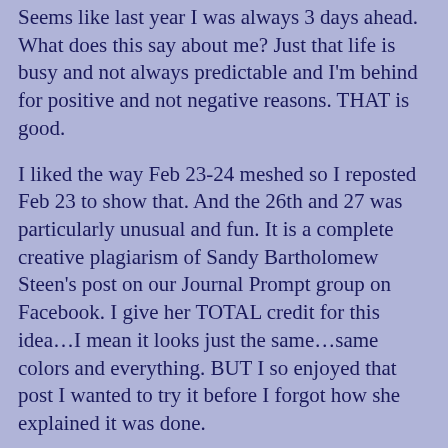Seems like last year I was always 3 days ahead.  What does this say about me?  Just that life is busy and not always predictable and I'm behind for positive and not negative reasons.  THAT is good.
I liked the way Feb 23-24 meshed so I reposted Feb 23 to show that.  And the 26th and 27 was particularly unusual and fun.  It is a complete creative plagiarism of Sandy Bartholomew Steen's post on our Journal Prompt group on Facebook.  I give her TOTAL credit for this idea…I mean it looks just the same…same colors and everything. BUT I so enjoyed that post I wanted to try it before I forgot how she explained it was done.
The background is acrylic!  Who would have thought of that!
Pens on acrylic have to be different than regular paper…she used Sharpies and I used a Pitt pen.  The colors are colored pencil, shading is graphite and white jellyroll pens.  Her "word" was not spring but I decided that with all my